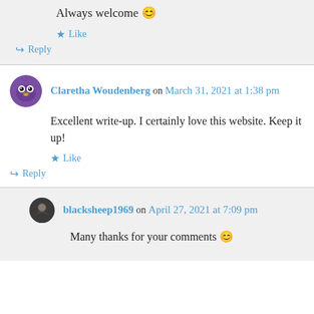Always welcome 😊
★ Like
↪ Reply
Claretha Woudenberg on March 31, 2021 at 1:38 pm
Excellent write-up. I certainly love this website. Keep it up!
★ Like
↪ Reply
blacksheep1969 on April 27, 2021 at 7:09 pm
Many thanks for your comments 😊